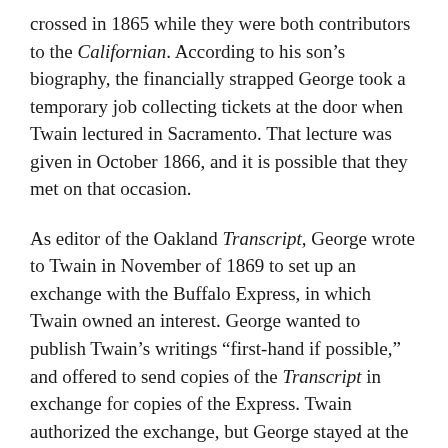crossed in 1865 while they were both contributors to the Californian. According to his son's biography, the financially strapped George took a temporary job collecting tickets at the door when Twain lectured in Sacramento. That lecture was given in October 1866, and it is possible that they met on that occasion.
As editor of the Oakland Transcript, George wrote to Twain in November of 1869 to set up an exchange with the Buffalo Express, in which Twain owned an interest. George wanted to publish Twain's writings “first-hand if possible,” and offered to send copies of the Transcript in exchange for copies of the Express. Twain authorized the exchange, but George stayed at the Transcript for only a few more months, until February 1870 (Fischer, Frank and Armon 401).